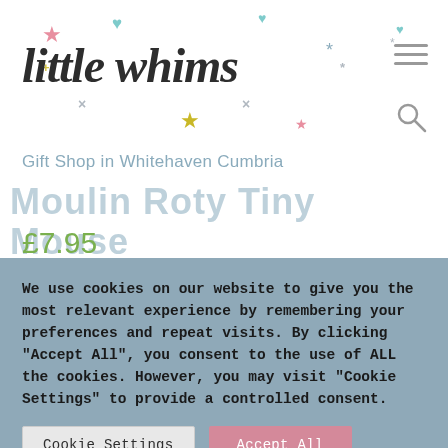[Figure (logo): Little Whims gift shop logo with decorative stars, hearts, and crosses in pink, teal, and gold colors]
Gift Shop in Whitehaven Cumbria
Moulin Roty Tiny Mouse
£7.95
We use cookies on our website to give you the most relevant experience by remembering your preferences and repeat visits. By clicking "Accept All", you consent to the use of ALL the cookies. However, you may visit "Cookie Settings" to provide a controlled consent.
Cookie Settings
Accept All